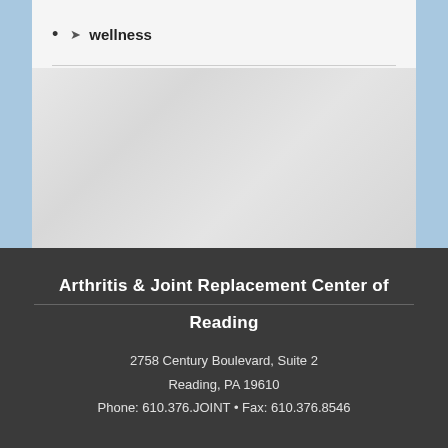wellness
[Figure (photo): Light gray textured background image area, appears to be a medical or wellness related photo with muted tones]
Arthritis & Joint Replacement Center of Reading
2758 Century Boulevard, Suite 2
Reading, PA 19610
Phone: 610.376.JOINT • Fax: 610.376.8546